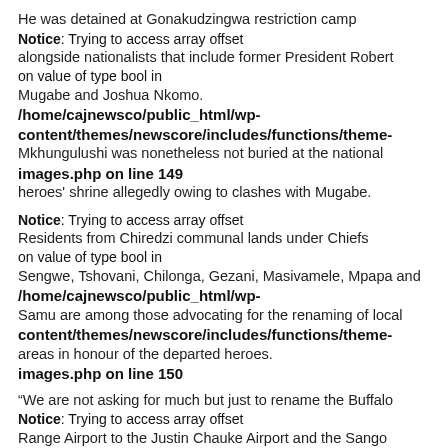He was detained at Gonakudzingwa restriction camp alongside nationalists that include former President Robert Mugabe and Joshua Nkomo.
Notice: Trying to access array offset on value of type bool in /home/cajnewsco/public_html/wp-content/themes/newscore/includes/functions/theme-images.php on line 149
Mkhungulushi was nonetheless not buried at the national heroes' shrine allegedly owing to clashes with Mugabe.
Notice: Trying to access array offset on value of type bool in /home/cajnewsco/public_html/wp-content/themes/newscore/includes/functions/theme-images.php on line 150
Residents from Chiredzi communal lands under Chiefs Sengwe, Tshovani, Chilonga, Gezani, Masivamele, Mpapa and Samu are among those advocating for the renaming of local areas in honour of the departed heroes.
“We are not asking for much but just to rename the Buffalo Range Airport to the Justin Chauke Airport and the Sango Border-post to Mkhungulushi border-post,” said Tiyani Livombo in Chikombedzi.
Notice: Trying to access array offset on value of type bool in /home/cajnewsco/public_html/wp-content/themes/newscore/includes/functions/theme-images.php on line 149
Miyetani Baloyi of Chingele echoed the sentiments.